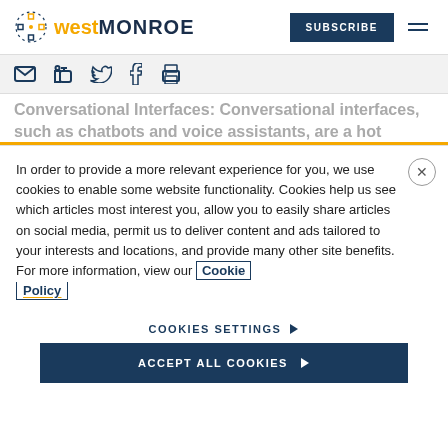[Figure (logo): West Monroe logo with dotted circle icon, 'west' in gold bold and 'MONROE' in dark navy uppercase]
[Figure (screenshot): SUBSCRIBE button (dark navy) and hamburger menu icon]
[Figure (infographic): Social sharing icons bar: email, LinkedIn, Twitter, Facebook, print]
Conversational Interfaces: Conversational interfaces, such as chatbots and voice assistants, are a hot
In order to provide a more relevant experience for you, we use cookies to enable some website functionality. Cookies help us see which articles most interest you, allow you to easily share articles on social media, permit us to deliver content and ads tailored to your interests and locations, and provide many other site benefits. For more information, view our Cookie Policy
COOKIES SETTINGS
ACCEPT ALL COOKIES